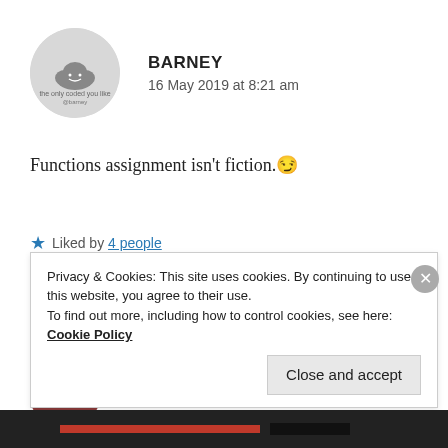[Figure (illustration): Circular avatar with grey background and a small cloud/emoji graphic]
BARNEY
16 May 2019 at 8:21 am
Functions assignment isn't fiction. 😏
★ Liked by 4 people
REPLY
[Figure (illustration): Partial circular avatar with brownish-red background for second commenter]
ZEALOUS HOMO SAPIENS
Privacy & Cookies: This site uses cookies. By continuing to use this website, you agree to their use.
To find out more, including how to control cookies, see here: Cookie Policy
Close and accept